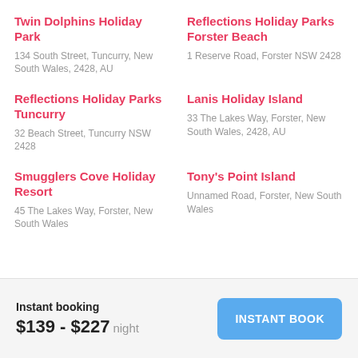Twin Dolphins Holiday Park
134 South Street, Tuncurry, New South Wales, 2428, AU
Reflections Holiday Parks Forster Beach
1 Reserve Road, Forster NSW 2428
Reflections Holiday Parks Tuncurry
32 Beach Street, Tuncurry NSW 2428
Lanis Holiday Island
33 The Lakes Way, Forster, New South Wales, 2428, AU
Smugglers Cove Holiday Resort
45 The Lakes Way, Forster, New South Wales
Tony's Point Island
Unnamed Road, Forster, New South Wales
Instant booking
$139 - $227 night
INSTANT BOOK